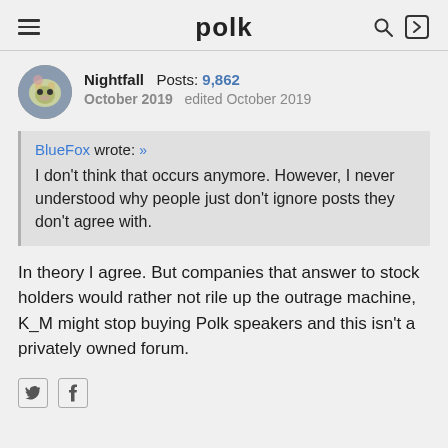polk
Nightfall  Posts: 9,862
October 2019   edited October 2019
BlueFox wrote: »
I don't think that occurs anymore. However, I never understood why people just don't ignore posts they don't agree with.
In theory I agree. But companies that answer to stock holders would rather not rile up the outrage machine, K_M might stop buying Polk speakers and this isn't a privately owned forum.